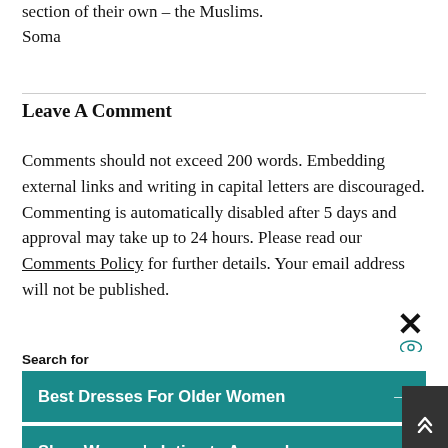section of their own – the Muslims.
Soma
Leave A Comment
Comments should not exceed 200 words. Embedding external links and writing in capital letters are discouraged. Commenting is automatically disabled after 5 days and approval may take up to 24 hours. Please read our Comments Policy for further details. Your email address will not be published.
Search for
Best Dresses For Older Women →
Shop Women's Intimate Apparel →
Yahoo! Search | Sponsored